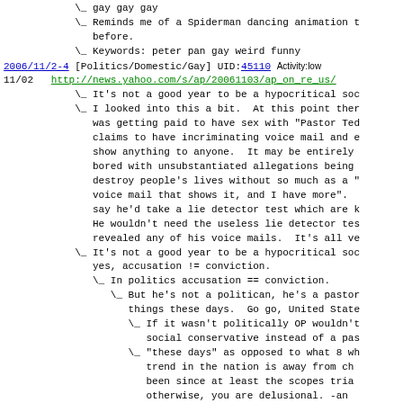\_ gay gay gay
\_ Reminds me of a Spiderman dancing animation t before.
\_ Keywords: peter pan gay weird funny
2006/11/2-4 [Politics/Domestic/Gay] UID:45110 Activity:low
11/02   http://news.yahoo.com/s/ap/20061103/ap_on_re_us/
\_ It's not a good year to be a hypocritical soc
\_ I looked into this a bit.  At this point ther was getting paid to have sex with "Pastor Ted claims to have incriminating voice mail and e show anything to anyone.  It may be entirely bored with unsubstantiated allegations being destroy people's lives without so much as a " voice mail that shows it, and I have more". say he'd take a lie detector test which are k He wouldn't need the useless lie detector tes revealed any of his voice mails.  It's all ve
\_ It's not a good year to be a hypocritical soc yes, accusation != conviction.
\_ In politics accusation == conviction.
\_ But he's not a politican, he's a pastor things these days.  Go go, United State
\_ If it wasn't politically OP wouldn't social conservative instead of a pas
\_ "these days" as opposed to what 8 wh trend in the nation is away from ch been since at least the scopes tria otherwise, you are delusional. -an
\_ And if you haven't been paying a trends in who holds the reins o